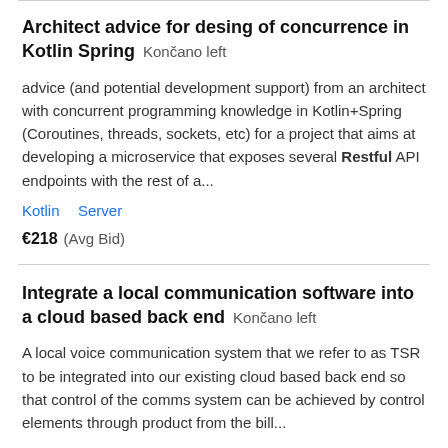Architect advice for desing of concurrence in Kotlin Spring  Končano left
advice (and potential development support) from an architect with concurrent programming knowledge in Kotlin+Spring (Coroutines, threads, sockets, etc) for a project that aims at developing a microservice that exposes several Restful API endpoints with the rest of a...
Kotlin   Server
€218  (Avg Bid)
Integrate a local communication software into a cloud based back end  Končano left
A local voice communication system that we refer to as TSR to be integrated into our existing cloud based back end so that control of the comms system can be achieved by control elements through product from the bill...